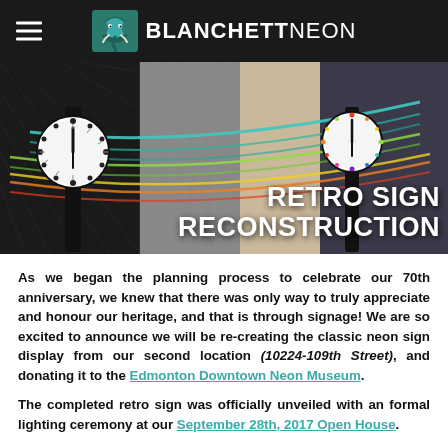BLANCHETTNEON
[Figure (photo): Hero banner showing two retro clock signs with neon colored swoosh lines, overlaid with text 'RETRO SIGN RECONSTRUCTION']
As we began the planning process to celebrate our 70th anniversary, we knew that there was only way to truly appreciate and honour our heritage, and that is through signage! We are so excited to announce we will be re-creating the classic neon sign display from our second location (10224-109th Street), and donating it to the Edmonton Downtown Neon Museum.
The completed retro sign was officially unveiled with an formal lighting ceremony at our September 28th, 2017 Open House.